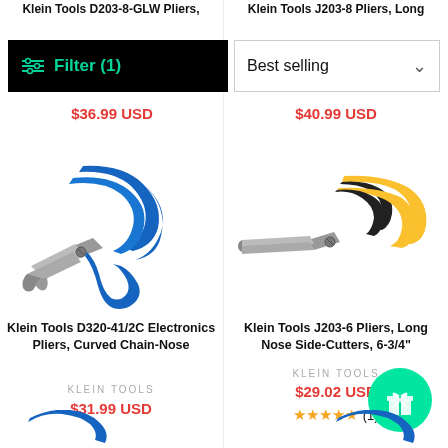Klein Tools D203-8-GLW Pliers,
Klein Tools J203-8 Pliers, Long
Filter (1)
Best selling
$36.99 USD
$40.99 USD
[Figure (photo): Blue-handled curved chain-nose pliers (Klein Tools D320-4 1/2C)]
[Figure (photo): Yellow and black handled long nose side-cutter pliers (Klein Tools J203-6)]
Klein Tools D320-41/2C Electronics Pliers, Curved Chain-Nose
Klein Tools J203-6 Pliers, Long Nose Side-Cutters, 6-3/4"
KLEIN TOOLS
KLEIN TOOLS
$31.99 USD
$29.02 USD
★★★★★ (1)
[Figure (photo): Gift/reward button icon (teal circular button with gift box icon)]
[Figure (photo): Partial view of blue-handled pliers at bottom left]
[Figure (photo): Partial view of blue-handled pliers at bottom right]